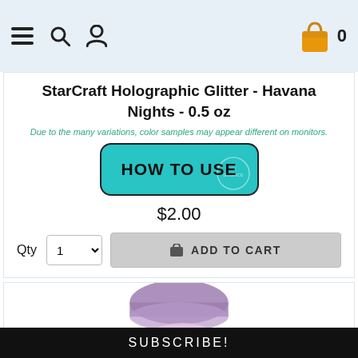Navigation bar with menu, search, account icons and shopping cart (0 items)
StarCraft Holographic Glitter - Havana Nights - 0.5 oz
Due to the many variations, color samples may appear different on monitors.
[Figure (illustration): HOW TO USE button with teal/turquoise rounded rectangle background and My Source logo watermark]
$2.00
Qty  1  ADD TO CART
[Figure (photo): Pink/mauve holographic glitter spilled from a container onto a white surface]
SUBSCRIBE!